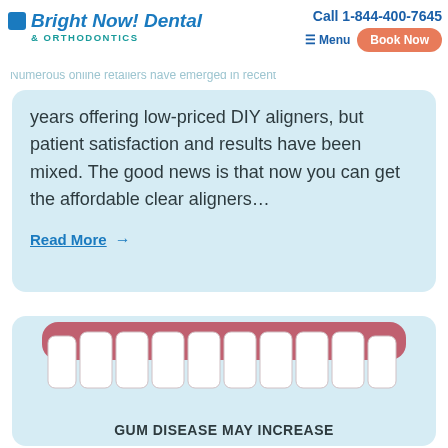Bright Now! Dental & Orthodontics | Call 1-844-400-7645 | Menu | Book Now
explosion in the number of adults ortho…nt, specifi…clear ali…
Numerous online retailers have emerged in recent years offering low-priced DIY aligners, but patient satisfaction and results have been mixed. The good news is that now you can get the affordable clear aligners...
Read More →
[Figure (illustration): Illustration of teeth with gum showing a row of white teeth against a pink gum background, part of an infographic. Below reads: GUM DISEASE MAY INCREASE]